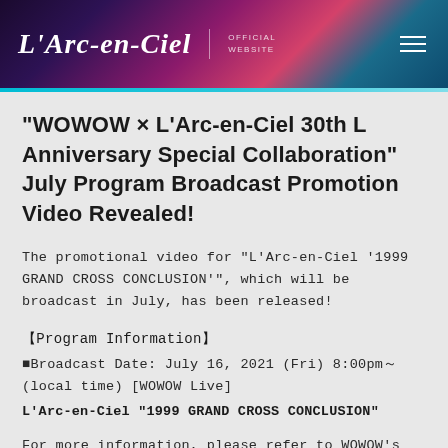L'Arc-en-Ciel | OFFICIAL WEBSITE
"WOWOW × L'Arc-en-Ciel 30th L Anniversary Special Collaboration" July Program Broadcast Promotion Video Revealed!
The promotional video for "L'Arc-en-Ciel '1999 GRAND CROSS CONCLUSION'", which will be broadcast in July, has been released!
【Program Information】
■Broadcast Date: July 16, 2021 (Fri) 8:00pm～ (local time) [WOWOW Live]
L'Arc-en-Ciel "1999 GRAND CROSS CONCLUSION"
For more information, please refer to WOWOW's Program